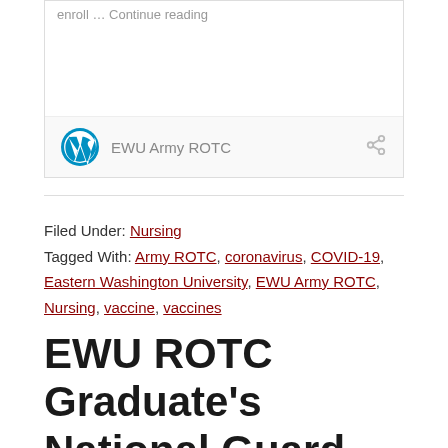[Figure (other): Embedded WordPress post card showing 'EWU Army ROTC' with WordPress logo and share icon, with truncated text 'enroll ... Continue reading' at top]
Filed Under: Nursing
Tagged With: Army ROTC, coronavirus, COVID-19, Eastern Washington University, EWU Army ROTC, Nursing, vaccine, vaccines
EWU ROTC Graduate's National Guard Service Featured in The Easterner